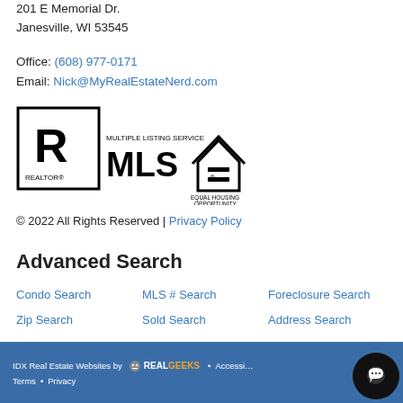201 E Memorial Dr.
Janesville, WI 53545
Office: (608) 977-0171
Email: Nick@MyRealEstateNerd.com
[Figure (logo): Realtor MLS and Equal Housing Opportunity logos]
© 2022 All Rights Reserved | Privacy Policy
Advanced Search
Condo Search
MLS # Search
Foreclosure Search
Zip Search
Sold Search
Address Search
IDX Real Estate Websites by RealGeeks • Accessibility • Terms • Privacy